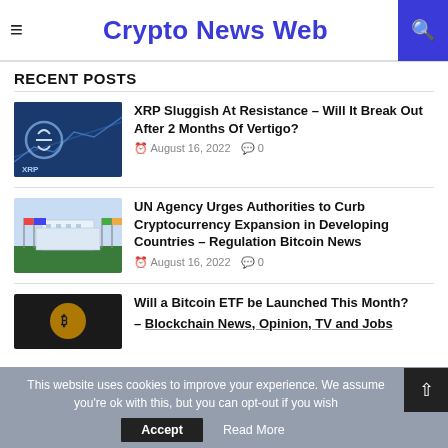Crypto News Web
RECENT POSTS
XRP Sluggish At Resistance – Will It Break Out After 2 Months Of Vertigo? | August 16, 2022 | 0
UN Agency Urges Authorities to Curb Cryptocurrency Expansion in Developing Countries – Regulation Bitcoin News | August 16, 2022 | 0
Will a Bitcoin ETF be Launched This Month? – Blockchain News, Opinion, TV and Jobs
This website uses cookies to improve your experience. We assume you're ok with this, but you can opt-out if you wish.
Accept | Read More